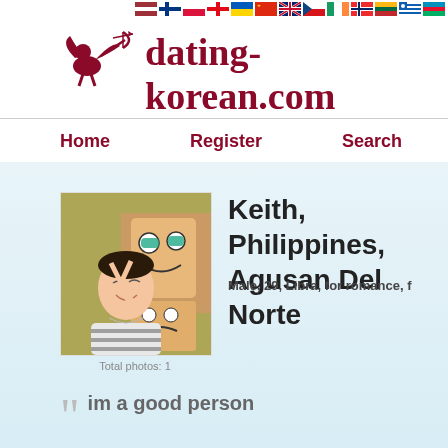[Figure (screenshot): Flag bar with multiple country flags along the top right]
[Figure (logo): Cupid/cherub silhouette logo in dark red with bow and arrow]
dating-korean.com
Home   Register   Search   Forum
[Figure (photo): Profile photo of a young man making a peace sign, with a cardboard box character decoration behind him, indoor setting]
Total photos: 1
Keith, Philippines, Agusan Del Norte
Male, 29, Libra, for romance, f
im a good person